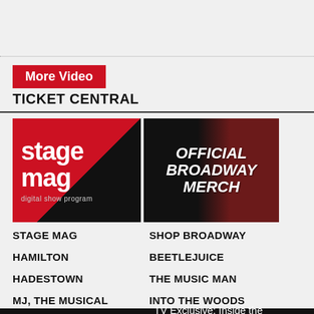More Video
TICKET CENTRAL
[Figure (logo): Stage Mag digital show program logo - red and black diagonal background with white bold text]
[Figure (logo): Official Broadway Merch banner - black background with red curtain and bold white italic text]
STAGE MAG
SHOP BROADWAY
HAMILTON
BEETLEJUICE
HADESTOWN
THE MUSIC MAN
MJ, THE MUSICAL
INTO THE WOODS
TV Exclusive: Inside the 2014 Drama League Nominations with Light & Sieber!